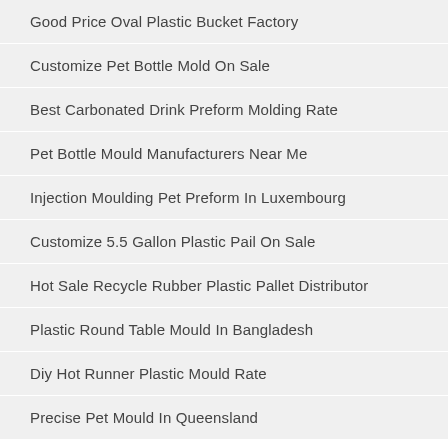Good Price Oval Plastic Bucket Factory
Customize Pet Bottle Mold On Sale
Best Carbonated Drink Preform Molding Rate
Pet Bottle Mould Manufacturers Near Me
Injection Moulding Pet Preform In Luxembourg
Customize 5.5 Gallon Plastic Pail On Sale
Hot Sale Recycle Rubber Plastic Pallet Distributor
Plastic Round Table Mould In Bangladesh
Diy Hot Runner Plastic Mould Rate
Precise Pet Mould In Queensland